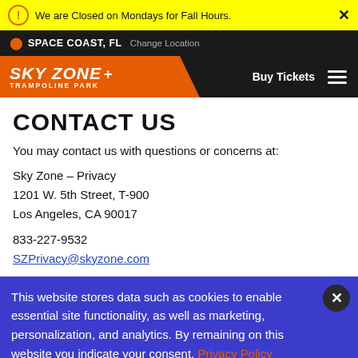We are Closed on Mondays for Fall Hours.
SPACE COAST, FL  Change Location
SKY ZONE TRAMPOLINE PARK+  Buy Tickets
CONTACT US
You may contact us with questions or concerns at:
Sky Zone – Privacy
1201 W. 5th Street, T-900
Los Angeles, CA 90017
833-227-9532
SZPrivacy@skyzone.com
This website stores data such as cookies to enable essential site functionality, as well as marketing, personalization, and analytics. By remaining on this website you indicate your consent. Privacy Policy